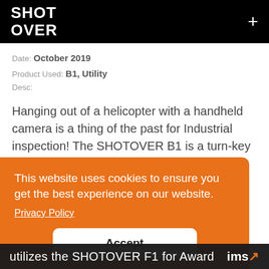SHOTOVER +
Date: October 2019
Product Used: B1, Utility
Desc:
Hanging out of a helicopter with a handheld camera is a thing of the past for Industrial inspection! The SHOTOVER B1 is a turn-key helicopter camera system that reduces operator fatigue and opens opportunities for
This website uses cookies to ensure you get the best experience on our website.
Privacy Policy
Accept
utilizes the SHOTOVER F1 for Award  ims